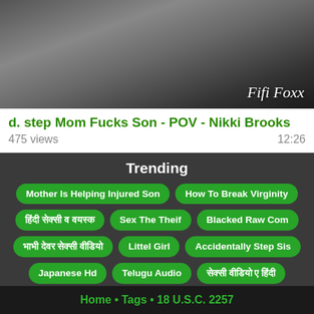[Figure (screenshot): Video thumbnail showing a person in a gray shirt with 'Fifi Foxx' watermark text]
d. step Mom Fucks Son - POV - Nikki Brooks
475 views   12:26
Trending
Mother Is Helping Injured Son
How To Break Virginity
हिंदी सेक्सी व वयस्क
Sex The Theif
Blacked Raw Com
भाभी देवर सेक्सी वीडियो
Littel Girl
Accidentally Step Sis
Japanese Hd
Telugu Audio
सेक्सी वीडियो ए हिंदी
Vidio Xnxx Japanes
Dekh Tera Kohinoor Aya Hai
Smol Xxx Videos
सेक्सी वो ब्लॉक्ड हो गईया
Home • Tags • 18 U.S.C. 2257